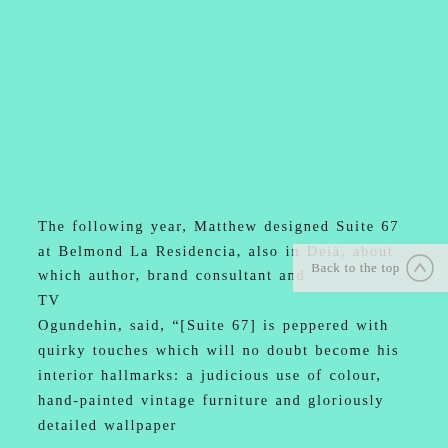[Figure (illustration): Large mint/turquoise green background filling the upper two-thirds of the page.]
The following year, Matthew designed Suite 67 at Belmond La Residencia, also in Deià, about which author, brand consultant and TV Ogundehin, said, “[Suite 67] is peppered with quirky touches which will no doubt become his interior hallmarks: a judicious use of colour, hand-painted vintage furniture and gloriously detailed wallpaper